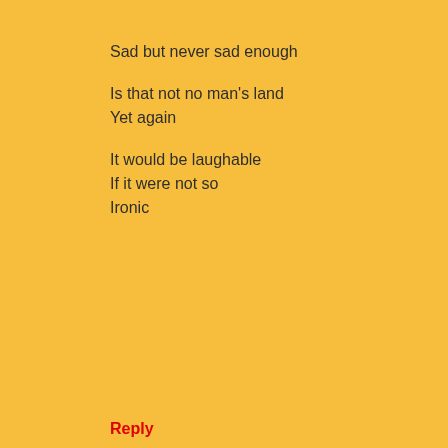Sad but never sad enough

Is that not no man's land
Yet again

It would be laughable
If it were not so
Ironic
Reply
Enter Comment
‹
Home
›
View web version
Powered by Blogger.